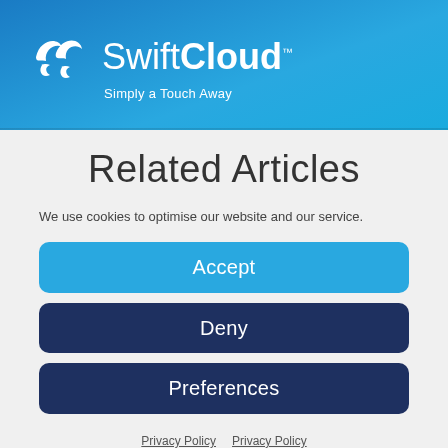[Figure (logo): SwiftCloud logo with two bird/leaf icons and tagline 'Simply a Touch Away' on blue gradient header]
Related Articles
We use cookies to optimise our website and our service.
Accept
Deny
Preferences
Privacy Policy  Privacy Policy